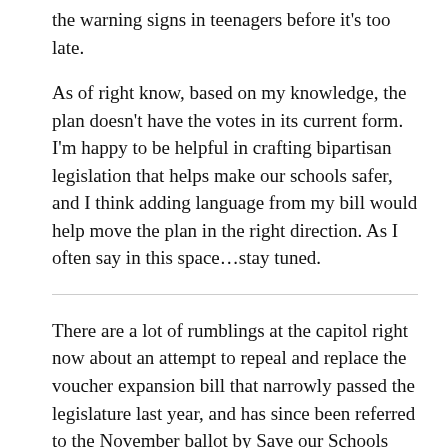the warning signs in teenagers before it's too late.
As of right know, based on my knowledge, the plan doesn't have the votes in its current form. I'm happy to be helpful in crafting bipartisan legislation that helps make our schools safer, and I think adding language from my bill would help move the plan in the right direction. As I often say in this space…stay tuned.
There are a lot of rumblings at the capitol right now about an attempt to repeal and replace the voucher expansion bill that narrowly passed the legislature last year, and has since been referred to the November ballot by Save our Schools Arizona. As you'll remember, I voted no on that bill and it passed the Senate 16-14 and the House 31-29.